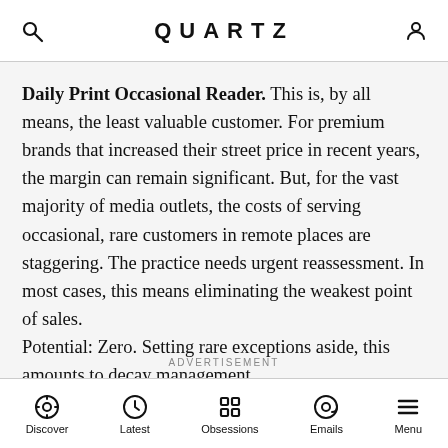QUARTZ
Daily Print Occasional Reader. This is, by all means, the least valuable customer. For premium brands that increased their street price in recent years, the margin can remain significant. But, for the vast majority of media outlets, the costs of serving occasional, rare customers in remote places are staggering. The practice needs urgent reassessment. In most cases, this means eliminating the weakest point of sales.
Potential: Zero. Setting rare exceptions aside, this amounts to decay management.
Priority: Low. (Well, high priority when it comes to cleaning up this line of business.)
ADVERTISEMENT
Discover  Latest  Obsessions  Emails  Menu